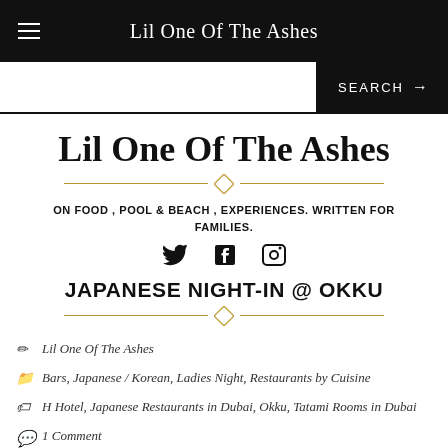Lil One Of The Ashes
Lil One Of The Ashes
ON FOOD , POOL & BEACH , EXPERIENCES. WRITTEN FOR FAMILIES.
JAPANESE NIGHT-IN @ OKKU
Lil One Of The Ashes
Bars, Japanese / Korean, Ladies Night, Restaurants by Cuisine
H Hotel, Japanese Restaurants in Dubai, Okku, Tatami Rooms in Dubai
1 Comment